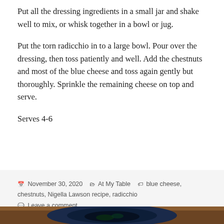Put all the dressing ingredients in a small jar and shake well to mix, or whisk together in a bowl or jug.
Put the torn radicchio in to a large bowl. Pour over the dressing, then toss patiently and well. Add the chestnuts and most of the blue cheese and toss again gently but thoroughly. Sprinkle the remaining cheese on top and serve.
Serves 4-6
November 30, 2020  At My Table  blue cheese, chestnuts, Nigella Lawson recipe, radicchio  Leave a comment
[Figure (photo): Partial photo of a bowl with food, visible at bottom of page]